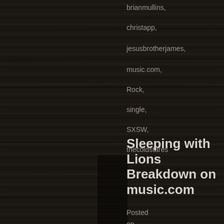brianmullins,
christapp,
jesusbrotherjames,
music.com,
Rock,
single,
SXSW,
thecoldstares
Sleeping with Lions Breakdown on music.com
Posted
on